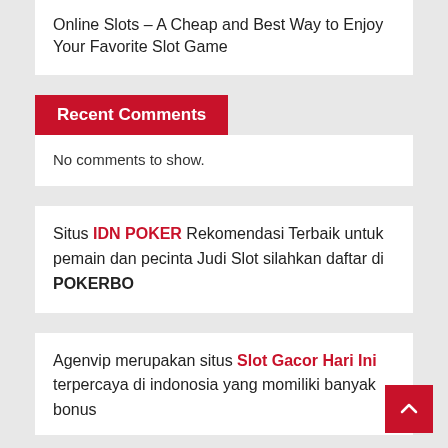Online Slots – A Cheap and Best Way to Enjoy Your Favorite Slot Game
Recent Comments
No comments to show.
Situs IDN POKER Rekomendasi Terbaik untuk pemain dan pecinta Judi Slot silahkan daftar di POKERBO
Agenvip merupakan situs Slot Gacor Hari Ini terpercaya di indonosia yang momiliki banyak bonus